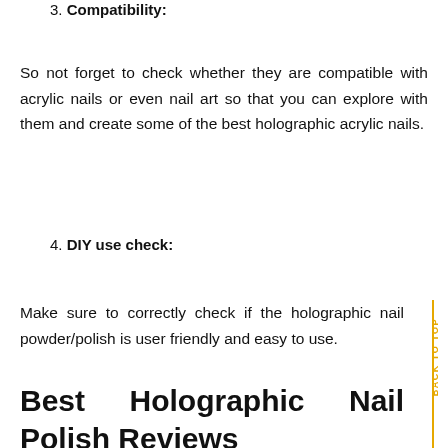3. Compatibility:
So not forget to check whether they are compatible with acrylic nails or even nail art so that you can explore with them and create some of the best holographic acrylic nails.
4. DIY use check:
Make sure to correctly check if the holographic nail powder/polish is user friendly and easy to use.
Best Holographic Nail Polish Reviews